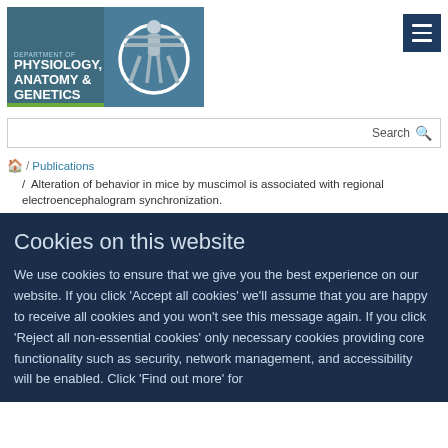[Figure (logo): Department of Physiology, Anatomy & Genetics logo with Vitruvian Man illustration on teal background]
[Figure (screenshot): Hamburger menu button (dark navy blue, three white lines)]
[Figure (screenshot): Search bar with search label and magnifying glass icon]
🏠 / Publications
/ Alteration of behavior in mice by muscimol is associated with regional electroencephalogram synchronization.
Cookies on this website
We use cookies to ensure that we give you the best experience on our website. If you click 'Accept all cookies' we'll assume that you are happy to receive all cookies and you won't see this message again. If you click 'Reject all non-essential cookies' only necessary cookies providing core functionality such as security, network management, and accessibility will be enabled. Click 'Find out more' for